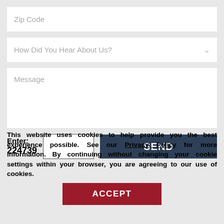[Figure (screenshot): Zip Code input field (white text box with placeholder text 'Zip Code')]
[Figure (screenshot): Dropdown field with placeholder 'How Did You Hear About Us?' and chevron arrow]
[Figure (screenshot): Message textarea with placeholder text 'Message']
[Figure (screenshot): CAPTCHA row: label 'Enter: 224739', blank input box, and dark blue SEND button]
This website uses cookies to help provide you the best experience possible. See our Privacy Policy for more information. By continuing without changing your cookie settings within your browser, you are agreeing to our use of cookies.
[Figure (screenshot): Red ACCEPT button]